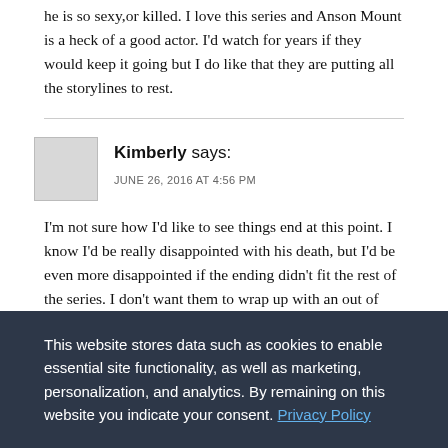he is so sexy,or killed. I love this series and Anson Mount is a heck of a good actor. I'd watch for years if they would keep it going but I do like that they are putting all the storylines to rest.
Kimberly says: JUNE 26, 2016 AT 4:56 PM
I'm not sure how I'd like to see things end at this point. I know I'd be really disappointed with his death, but I'd be even more disappointed if the ending didn't fit the rest of the series. I don't want them to wrap up with an out of place, hurried ending to leave viewers with warm fuzzies. I'd like it
This website stores data such as cookies to enable essential site functionality, as well as marketing, personalization, and analytics. By remaining on this website you indicate your consent. Privacy Policy